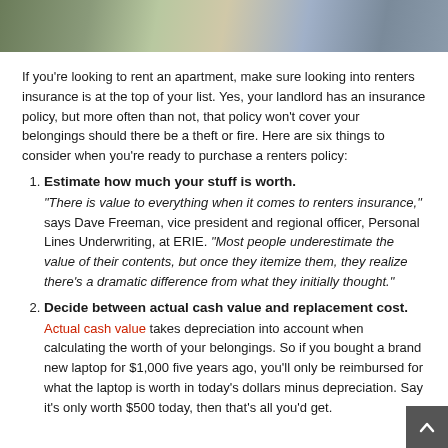[Figure (photo): Photo banner at top showing people in apartment/home setting]
If you're looking to rent an apartment, make sure looking into renters insurance is at the top of your list. Yes, your landlord has an insurance policy, but more often than not, that policy won't cover your belongings should there be a theft or fire. Here are six things to consider when you're ready to purchase a renters policy:
1. Estimate how much your stuff is worth. "There is value to everything when it comes to renters insurance," says Dave Freeman, vice president and regional officer, Personal Lines Underwriting, at ERIE. "Most people underestimate the value of their contents, but once they itemize them, they realize there's a dramatic difference from what they initially thought."
2. Decide between actual cash value and replacement cost. Actual cash value takes depreciation into account when calculating the worth of your belongings. So if you bought a brand new laptop for $1,000 five years ago, you'll only be reimbursed for what the laptop is worth in today's dollars minus depreciation. Say it's only worth $500 today, then that's all you'd get.